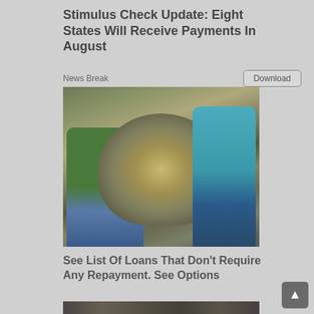Stimulus Check Update: Eight States Will Receive Payments In August
News Break
Download
[Figure (photo): Two people smiling beside a large pile of US dollar bills/cash]
See List Of Loans That Don’t Require Any Repayment. See Options
Loans | Search Ads